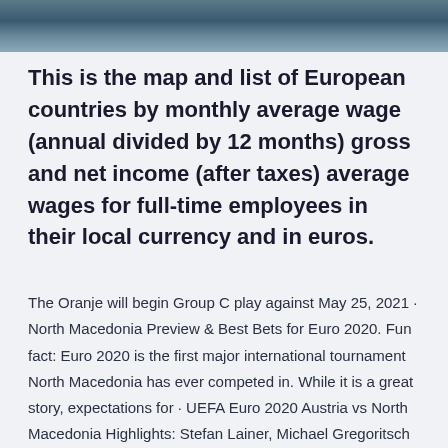[Figure (photo): Aerial or landscape photo strip showing water or coastal scenery in blue-grey tones]
This is the map and list of European countries by monthly average wage (annual divided by 12 months) gross and net income (after taxes) average wages for full-time employees in their local currency and in euros.
The Oranje will begin Group C play against May 25, 2021 · North Macedonia Preview & Best Bets for Euro 2020. Fun fact: Euro 2020 is the first major international tournament North Macedonia has ever competed in. While it is a great story, expectations for · UEFA Euro 2020 Austria vs North Macedonia Highlights: Stefan Lainer, Michael Gregoritsch and Mark Arnautovic